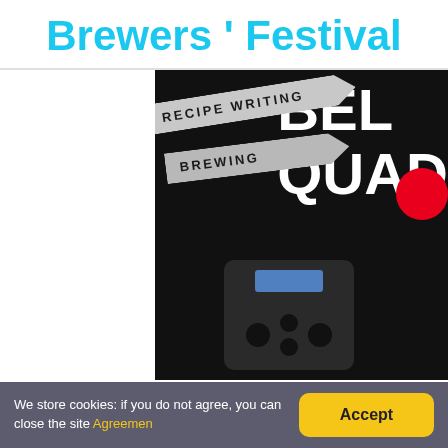Brewers ' Festival
[Figure (photo): Dark-background image showing arrow-shaped signage with 'RECIPE WRITING' and 'BREWING' labels on the left side, and large white text 'BEL QUAD' with a red circle on the right side. A remote control device is visible at the bottom center.]
We store cookies: if you do not agree, you can close the site Agreemen